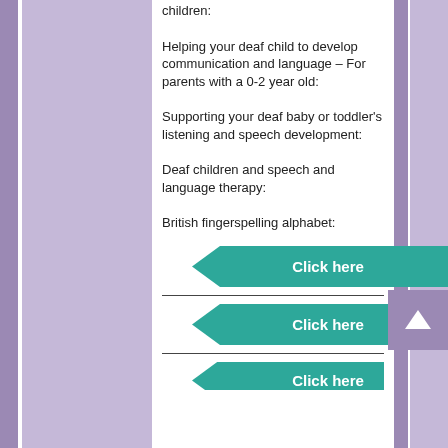children:
Helping your deaf child to develop communication and language – For parents with a 0-2 year old:
Supporting your deaf baby or toddler's listening and speech development:
Deaf children and speech and language therapy:
British fingerspelling alphabet:
[Figure (other): Teal arrow-shaped 'Click here' button]
[Figure (other): Teal arrow-shaped 'Click here' button]
[Figure (other): Teal arrow-shaped 'Click here' button (partially visible)]